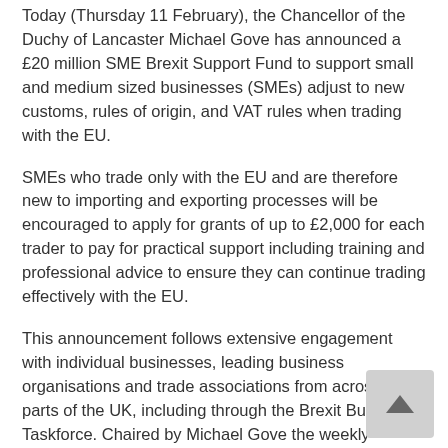Today (Thursday 11 February), the Chancellor of the Duchy of Lancaster Michael Gove has announced a £20 million SME Brexit Support Fund to support small and medium sized businesses (SMEs) adjust to new customs, rules of origin, and VAT rules when trading with the EU.
SMEs who trade only with the EU and are therefore new to importing and exporting processes will be encouraged to apply for grants of up to £2,000 for each trader to pay for practical support including training and professional advice to ensure they can continue trading effectively with the EU.
This announcement follows extensive engagement with individual businesses, leading business organisations and trade associations from across all parts of the UK, including through the Brexit Business Taskforce. Chaired by Michael Gove the weekly meetings provided an opportunity to identify challenges and find solutions to outstanding issues.